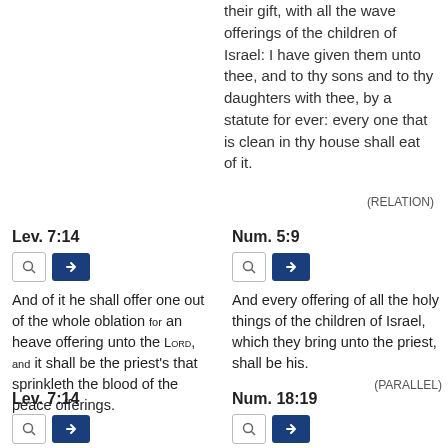their gift, with all the wave offerings of the children of Israel: I have given them unto thee, and to thy sons and to thy daughters with thee, by a statute for ever: every one that is clean in thy house shall eat of it.
(RELATION)
Lev. 7:14
And of it he shall offer one out of the whole oblation for an heave offering unto the LORD, and it shall be the priest's that sprinkleth the blood of the peace offerings.
Num. 5:9
And every offering of all the holy things of the children of Israel, which they bring unto the priest, shall be his.
(PARALLEL)
Lev. 7:14
Num. 18:19